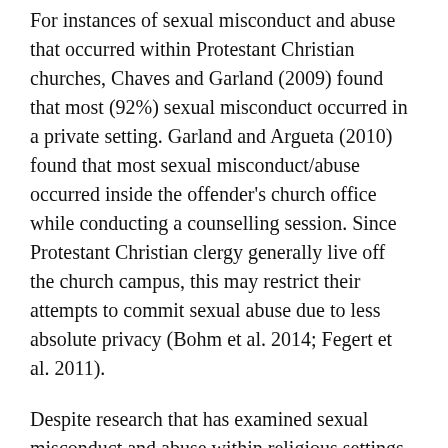For instances of sexual misconduct and abuse that occurred within Protestant Christian churches, Chaves and Garland (2009) found that most (92%) sexual misconduct occurred in a private setting. Garland and Argueta (2010) found that most sexual misconduct/abuse occurred inside the offender's church office while conducting a counselling session. Since Protestant Christian clergy generally live off the church campus, this may restrict their attempts to commit sexual abuse due to less absolute privacy (Bohm et al. 2014; Fegert et al. 2011).
Despite research that has examined sexual misconduct and abuse within religious settings, there still exists a need for research pertaining to offenses that occur at or through activities provided by Protestant Christian churches. Such information is crucial with an estimated 314,000 churches in the US, with a substantial portion of that population being occupied by the ages with the highest known sexual victimization rates (Grammich et al. 2012; Pew Research